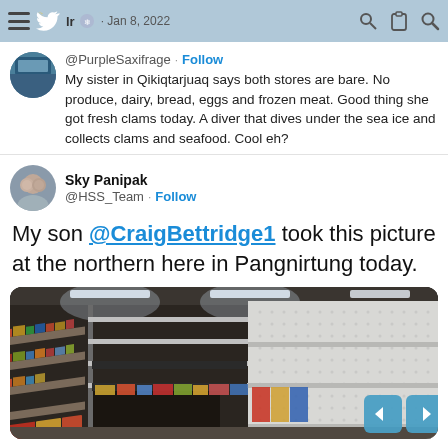lr · Jan 8, 2022
@PurpleSaxifrage · Follow
My sister in Qikiqtarjuaq says both stores are bare. No produce, dairy, bread, eggs and frozen meat. Good thing she got fresh clams today. A diver that dives under the sea ice and collects clams and seafood. Cool eh?
Sky Panipak
@HSS_Team · Follow
My son @CraigBettridge1 took this picture at the northern here in Pangnirtung today.
[Figure (photo): Interior of a grocery store with mostly empty shelves. The right side shows large bare white pegboard shelving units with very few products. The left side shows some stocked shelves. Fluorescent lighting overhead. A few scattered items remain on lower shelves.]